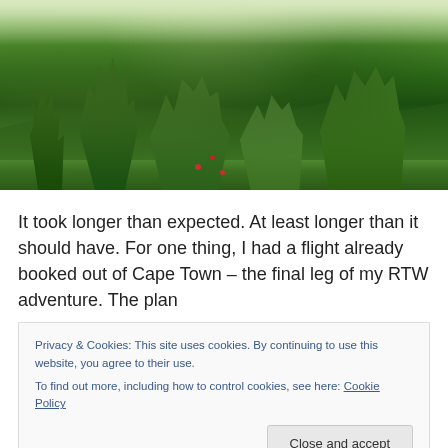[Figure (photo): Landscape photograph of lush green vegetation, shrubs and trees in the foreground with rolling green hills in the background under a light sky at dusk or dawn.]
It took longer than expected. At least longer than it should have. For one thing, I had a flight already booked out of Cape Town – the final leg of my RTW adventure. The plan
Privacy & Cookies: This site uses cookies. By continuing to use this website, you agree to their use.
To find out more, including how to control cookies, see here: Cookie Policy
Close and accept